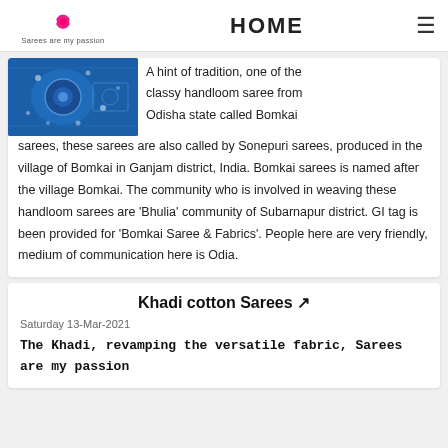HOME | Sarees are my passion
[Figure (photo): Blue Bomkai saree with intricate white floral and geometric handloom patterns]
A hint of tradition, one of the classy handloom saree from Odisha state called Bomkai sarees, these sarees are also called by Sonepuri sarees, produced in the village of Bomkai in Ganjam district, India. Bomkai sarees is named after the village Bomkai. The community who is involved in weaving these handloom sarees are 'Bhulia' community of Subarnapur district. GI tag is been provided for 'Bomkai Saree & Fabrics'. People here are very friendly, medium of communication here is Odia.
Khadi cotton Sarees ↗
Saturday 13-Mar-2021
The Khadi, revamping the versatile fabric, Sarees are my passion